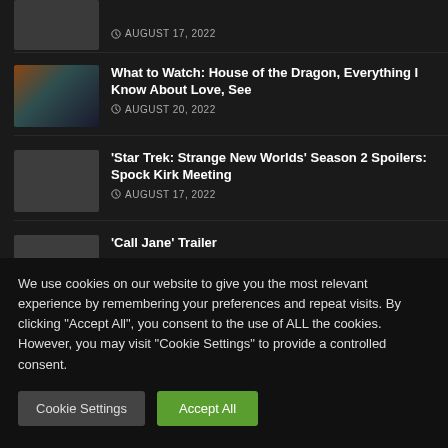[Figure (photo): Thumbnail image placeholder for first article (partially visible at top)]
AUGUST 17, 2022
[Figure (photo): Thumbnail image for What to Watch article showing colorful movie/TV poster]
What to Watch: House of the Dragon, Everything I Know About Love, See
AUGUST 20, 2022
[Figure (photo): Thumbnail image placeholder for Star Trek article]
'Star Trek: Strange New Worlds' Season 2 Spoilers: Spock Kirk Meeting
AUGUST 17, 2022
[Figure (photo): Thumbnail image placeholder for Call Jane article]
'Call Jane' Trailer
We use cookies on our website to give you the most relevant experience by remembering your preferences and repeat visits. By clicking "Accept All", you consent to the use of ALL the cookies. However, you may visit "Cookie Settings" to provide a controlled consent.